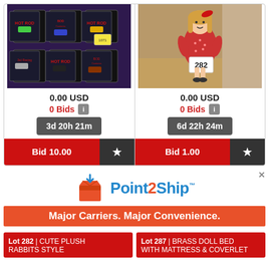[Figure (photo): Hot Rod and BOD Customs die-cast cars in packaging on purple background]
0.00 USD
0 Bids
3d 20h 21m
Bid 10.00
[Figure (photo): Porcelain doll in red dress with blonde hair, holding lot number 282]
0.00 USD
0 Bids
6d 22h 24m
Bid 1.00
[Figure (logo): Point2Ship advertisement logo with box icon and tagline 'Major Carriers. Major Convenience.']
Lot 282 | CUTE PLUSH RABBITS STYLE
Lot 287 | BRASS DOLL BED WITH MATTRESS & COVERLET